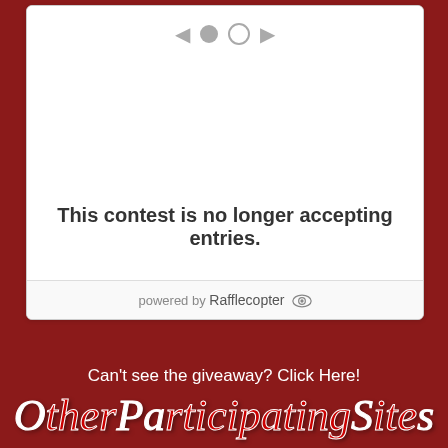[Figure (screenshot): A Rafflecopter giveaway widget showing navigation dots and arrows at top, blank content area, and a message stating 'This contest is no longer accepting entries.' with 'powered by Rafflecopter' footer.]
This contest is no longer accepting entries.
powered by Rafflecopter
Can't see the giveaway?  Click Here!
Other Participating Sites